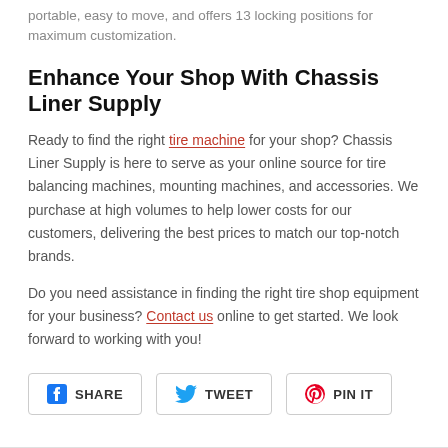portable, easy to move, and offers 13 locking positions for maximum customization.
Enhance Your Shop With Chassis Liner Supply
Ready to find the right tire machine for your shop? Chassis Liner Supply is here to serve as your online source for tire balancing machines, mounting machines, and accessories. We purchase at high volumes to help lower costs for our customers, delivering the best prices to match our top-notch brands.
Do you need assistance in finding the right tire shop equipment for your business? Contact us online to get started. We look forward to working with you!
SHARE   TWEET   PIN IT